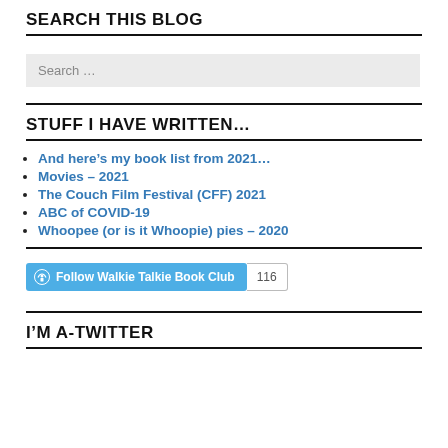SEARCH THIS BLOG
Search …
STUFF I HAVE WRITTEN…
And here's my book list from 2021…
Movies – 2021
The Couch Film Festival (CFF) 2021
ABC of COVID-19
Whoopee (or is it Whoopie) pies – 2020
[Figure (other): Follow Walkie Talkie Book Club WordPress follow button with follower count 116]
I'M A-TWITTER